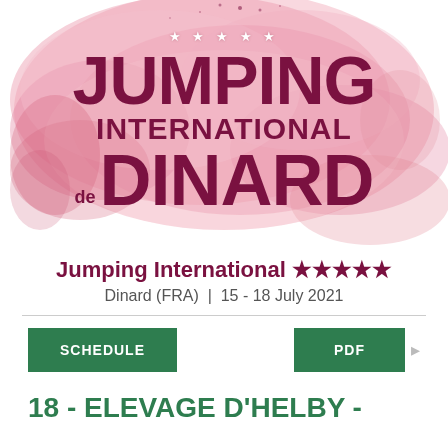[Figure (logo): Jumping International de Dinard logo with watercolor pink/red background, five white stars, and bold dark red text reading JUMPING INTERNATIONAL DE DINARD]
Jumping International *****
Dinard (FRA) | 15 - 18 July 2021
SCHEDULE
PDF
18 - ELEVAGE D'HELBY -